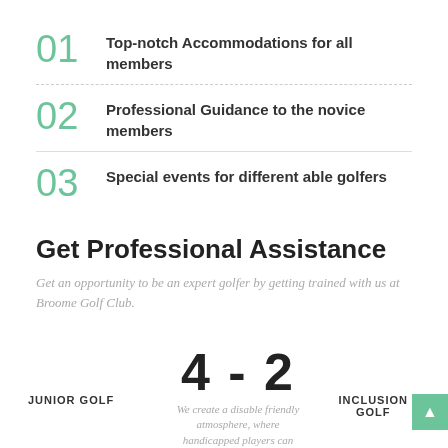01 Top-notch Accommodations for all members
02 Professional Guidance to the novice members
03 Special events for different able golfers
Get Professional Assistance
Get an opportunity to be an expert golfer by getting trained with us at Broome Golf Club.
4 - 2
We create a disable friendly atmosphere, where handicapped players can move and
JUNIOR GOLF
INCLUSION GOLF